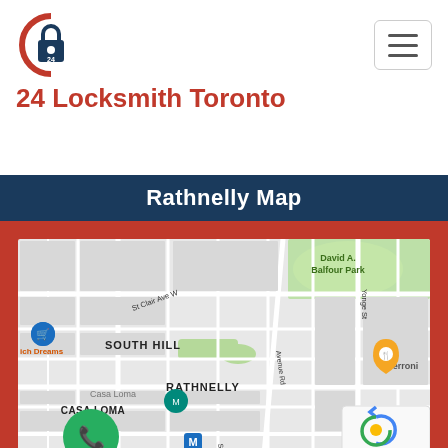[Figure (logo): 24 Locksmith Toronto circular logo with padlock icon]
24 Locksmith Toronto
Rathnelly Map
[Figure (map): Google Maps screenshot showing Rathnelly neighborhood in Toronto, with surrounding areas including South Hill, Casa Loma, The Annex, Yorkville, and David A. Balfour Park. Shows street grid with labels for Yonge St, Avenue Rd, Spadina Rd, St George St, Davenport Rd, St Clair Ave W. Markers include a blue shopping cart icon, teal Casa Loma museum marker, orange restaurant marker for Terroni, blue M transit markers, and green phone button. reCAPTCHA badge visible in bottom right.]